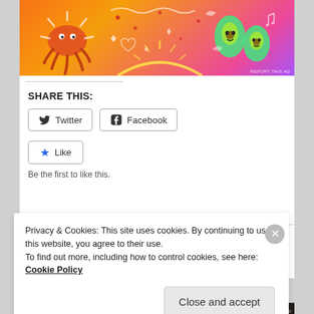[Figure (illustration): Colorful ad banner with orange/pink gradient background featuring illustrated sun/octopus character on left, decorative dots and symbols in middle, and green leaf/avocado characters on right]
REPORT THIS AD
SHARE THIS:
Twitter
Facebook
Like
Be the first to like this.
1000 STARS AND NO HOME
Privacy & Cookies: This site uses cookies. By continuing to use this website, you agree to their use.
To find out more, including how to control cookies, see here: Cookie Policy
Close and accept